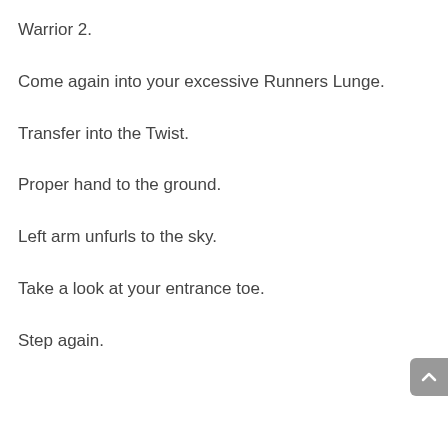Warrior 2.
Come again into your excessive Runners Lunge.
Transfer into the Twist.
Proper hand to the ground.
Left arm unfurls to the sky.
Take a look at your entrance toe.
Step again.